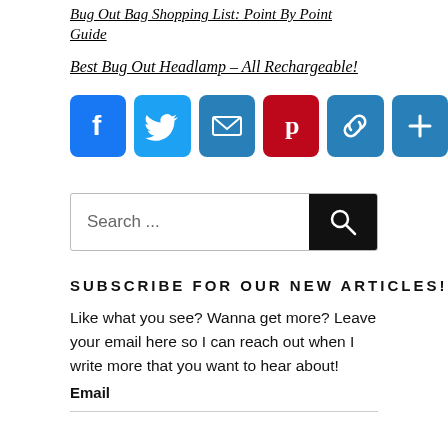Bug Out Bag Shopping List: Point By Point Guide
Best Bug Out Headlamp – All Rechargeable!
[Figure (infographic): Row of social media share buttons: Facebook (blue), Twitter (light blue), Email (blue envelope), Pinterest (red P), Copy Link (blue chain), More/Plus (blue)]
[Figure (screenshot): Search bar with text 'Search ...' and a black search button with magnifying glass icon]
SUBSCRIBE FOR OUR NEW ARTICLES!
Like what you see? Wanna get more? Leave your email here so I can reach out when I write more that you want to hear about!
Email